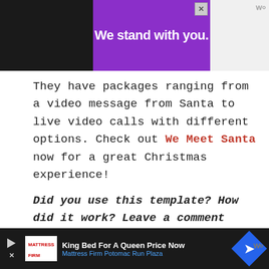[Figure (screenshot): Top advertisement banner with black box, gray box, and purple box reading 'We stand with you.' with an X close button.]
They have packages ranging from a video message from Santa to live video calls with different options. Check out We Meet Santa now for a great Christmas experience!
Did you use this template? How did it work? Leave a comment below and let me know how you liked it!
[Figure (screenshot): Bottom image section showing partial text 'Join the' in large bold font on a light gray gradient background.]
[Figure (screenshot): Bottom advertisement bar for Mattress Firm: 'King Bed For A Queen Price Now' and 'Mattress Firm Potomac Run Plaza' with blue diamond arrow icon.]